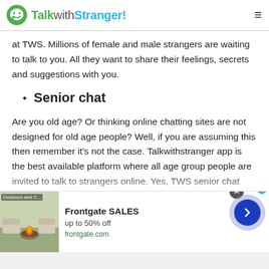TalkwithStranger!
at TWS. Millions of female and male strangers are waiting to talk to you. All they want to share their feelings, secrets and suggestions with you.
Senior chat
Are you old age? Or thinking online chatting sites are not designed for old age people? Well, if you are assuming this then remember it's not the case. Talkwithstranger app is the best available platform where all age group people are invited to talk to strangers online. Yes, TWS senior chat rooms help
[Figure (screenshot): Advertisement banner for Frontgate SALES - up to 50% off, frontgate.com, showing outdoor furniture with fire pit image]